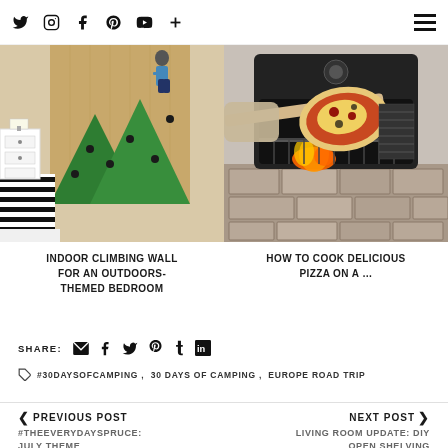Social icons: Twitter, Instagram, Facebook, Pinterest, YouTube, Plus | Hamburger menu
[Figure (photo): Indoor climbing wall with green mountain shapes painted on wood wall, child climbing, bedroom with black-and-white striped bedding]
[Figure (photo): Person placing pizza into a grill/pizza oven outdoors on a stone base, flames visible]
INDOOR CLIMBING WALL FOR AN OUTDOORS-THEMED BEDROOM
HOW TO COOK DELICIOUS PIZZA ON A ...
SHARE:
#30DAYSOFCAMPING , 30 DAYS OF CAMPING , EUROPE ROAD TRIP
PREVIOUS POST
#THEEVERYDAYSPRUCE: JULY THEME
NEXT POST
LIVING ROOM UPDATE: DIY OPEN SHELVING